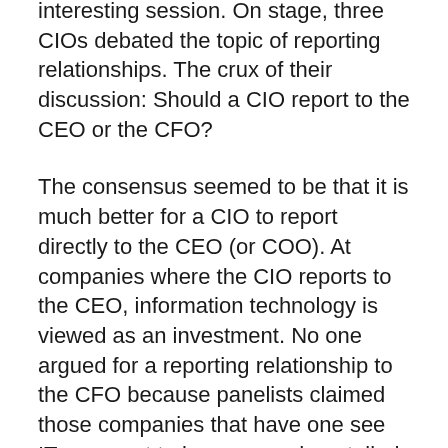interesting session. On stage, three CIOs debated the topic of reporting relationships. The crux of their discussion: Should a CIO report to the CEO or the CFO?
The consensus seemed to be that it is much better for a CIO to report directly to the CEO (or COO). At companies where the CIO reports to the CEO, information technology is viewed as an investment. No one argued for a reporting relationship to the CFO because panelists claimed those companies that have one see IT as a cost to be managed, curtailed or cut.
The argument seems logical. But in my March 1, 2002, column I presented readers with seven creeds of the CEO as a way to characterize how their CEO views IT. (The creeds were originally defined in a Sloan Management Review article.) I asked readers to select the creed that best represents the CEO at their